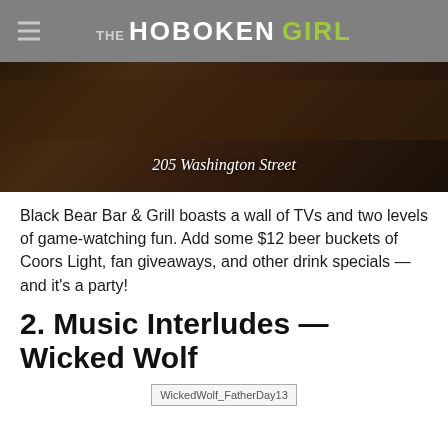THE HOBOKEN GIRL
[Figure (photo): Dark interior bar photo with text overlay reading '205 Washington Street']
205 Washington Street
Black Bear Bar & Grill boasts a wall of TVs and two levels of game-watching fun. Add some $12 beer buckets of Coors Light, fan giveaways, and other drink specials — and it's a party!
2. Music Interludes — Wicked Wolf
[Figure (photo): Partial image placeholder labeled WickedWolf_FatherDay13]